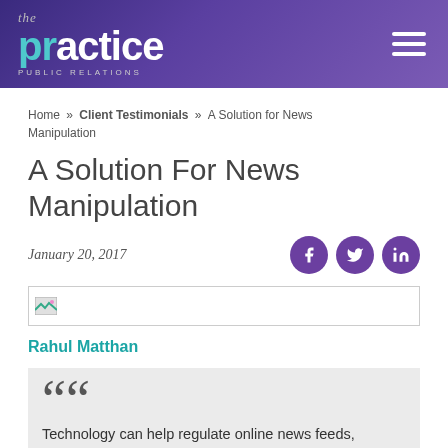[Figure (logo): The Practice Public Relations logo with teal and white text on purple gradient background, with hamburger menu icon on right]
Home » Client Testimonials » A Solution for News Manipulation
A Solution For News Manipulation
January 20, 2017
[Figure (photo): Image placeholder with broken image icon]
Rahul Matthan
“Technology can help regulate online news feeds, minimizing the distortion created by filter